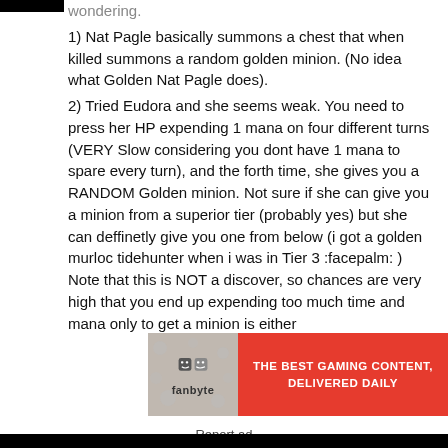wondering.
1) Nat Pagle basically summons a chest that when killed summons a random golden minion. (No idea what Golden Nat Pagle does).
2) Tried Eudora and she seems weak. You need to press her HP expending 1 mana on four different turns (VERY Slow considering you dont have 1 mana to spare every turn), and the forth time, she gives you a RANDOM Golden minion. Not sure if she can give you a minion from a superior tier (probably yes) but she can deffinetly give you one from below (i got a golden murloc tidehunter when i was in Tier 3 :facepalm: ) Note that this is NOT a discover, so chances are very high that you end up expending too much time and mana only to get a minion is either
[Figure (other): Fanbyte advertisement banner: red background with fanbyte logo on the left and tagline 'THE BEST GAMING CONTENT, DELIVERED DAILY' on the right]
Report ad